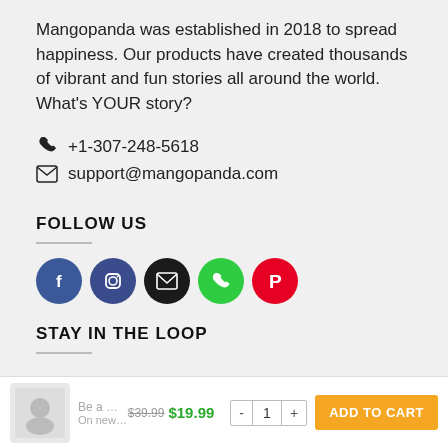Mangopanda was established in 2018 to spread happiness. Our products have created thousands of vibrant and fun stories all around the world. What's YOUR story?
+1-307-248-5618
support@mangopanda.com
FOLLOW US
[Figure (infographic): Row of five social media icon circles: Facebook (blue), Instagram (dark blue), Email (dark/black), Phone (green), Pinterest (red)]
STAY IN THE LOOP
Be a Mango Panda Member! $39.99 $19.99  -  1  +  ADD TO CART  On new designs and products